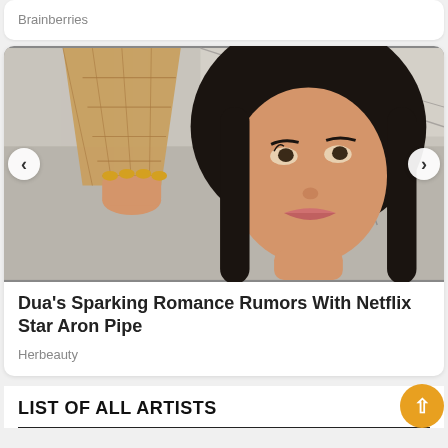Brainberries
[Figure (photo): A woman with dark hair holding an ice cream cone close to the camera, looking upward. She has gold nails. The background shows a modern interior space.]
Dua's Sparking Romance Rumors With Netflix Star Aron Pipe
Herbeauty
LIST OF ALL ARTISTS